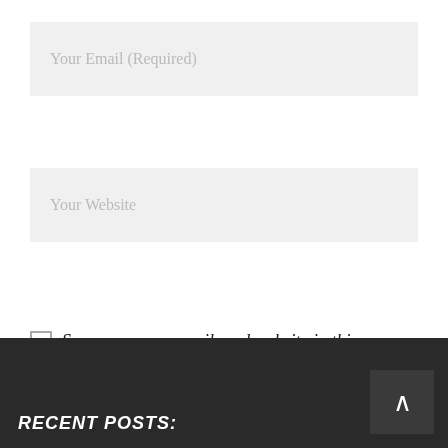Your Email (Required)
Your Website
Save my name, email, and website in this browser for the next time I comment.
Submit Now
RECENT POSTS: